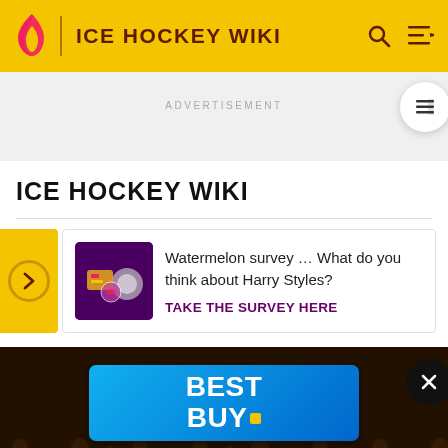ICE HOCKEY WIKI
ADVERTISEMENT
ICE HOCKEY WIKI
[Figure (infographic): Survey card with purple/pink game-themed image thumbnail]
Watermelon survey … What do you think about Harry Styles? TAKE THE SURVEY HERE
[Figure (infographic): Best Buy advertisement banner with blue gradient background and Best Buy logo in white with yellow dot]